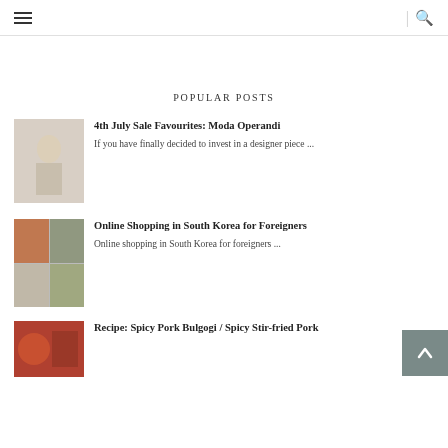≡  |  🔍
POPULAR POSTS
4th July Sale Favourites: Moda Operandi
If you have finally decided to invest in a designer piece ...
Online Shopping in South Korea for Foreigners
Online shopping in South Korea for foreigners ...
Recipe: Spicy Pork Bulgogi / Spicy Stir-fried Pork